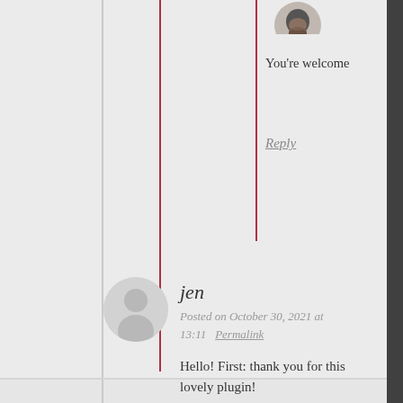You're welcome
Reply
jen
Posted on October 30, 2021 at 13:11   Permalink
Hello! First: thank you for this lovely plugin!
Secondly: I want to use two anchors in a text section, which don't have anything to